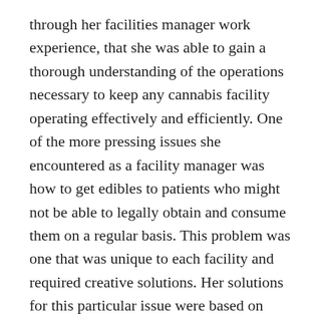through her facilities manager work experience, that she was able to gain a thorough understanding of the operations necessary to keep any cannabis facility operating effectively and efficiently. One of the more pressing issues she encountered as a facility manager was how to get edibles to patients who might not be able to legally obtain and consume them on a regular basis. This problem was one that was unique to each facility and required creative solutions. Her solutions for this particular issue were based on making sure the right products, such as Edible Factories and Edibles Delivery Service were always available. This included making sure that the right forms of ID were provided and consistently used at each facility, ensuring that customers' insurance policies did not interfere with her efforts and solutions also involved making sure that proper record keeping was done to ensure that no errors were made in billing and payment.